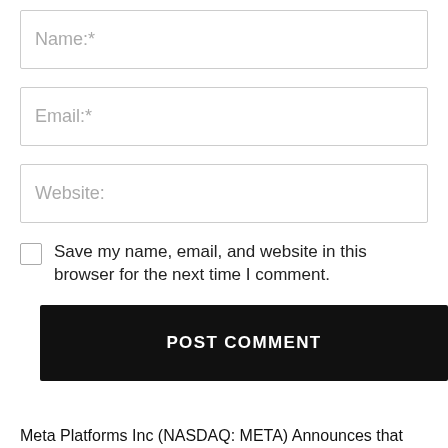Name:*
Email:*
Website:
Save my name, email, and website in this browser for the next time I comment.
POST COMMENT
Meta Platforms Inc (NASDAQ: META) Announces that Cardano Will Release Avatars
UNCTAD Seeks To Address Cryptocurrencies in Developing Nations By Issuing Various Policy Briefs